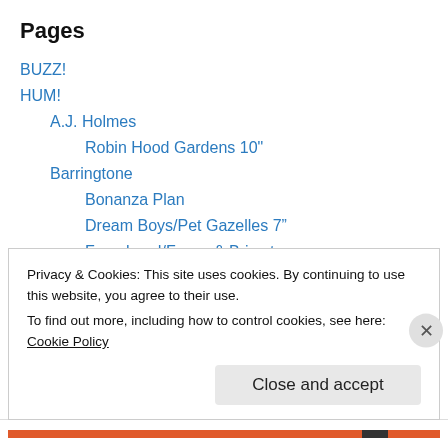Pages
BUZZ!
HUM!
A.J. Holmes
Robin Hood Gardens 10"
Barringtone
Bonanza Plan
Dream Boys/Pet Gazelles 7"
Feverhead/Foxes & Brimstone
Crayola Lectern
Happy Endings
Hurtling
Privacy & Cookies: This site uses cookies. By continuing to use this website, you agree to their use.
To find out more, including how to control cookies, see here: Cookie Policy